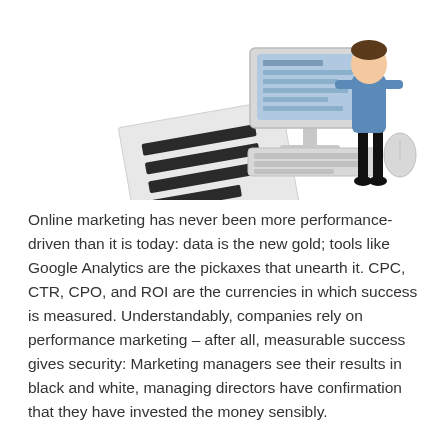[Figure (illustration): Isometric illustration of a desktop computer setup with monitor, keyboard, mouse, and a person standing beside it, along with a document with dark lines/bars on it suggesting a report or spreadsheet.]
Online marketing has never been more performance-driven than it is today: data is the new gold; tools like Google Analytics are the pickaxes that unearth it. CPC, CTR, CPO, and ROI are the currencies in which success is measured. Understandably, companies rely on performance marketing – after all, measurable success gives security: Marketing managers see their results in black and white, managing directors have confirmation that they have invested the money sensibly.